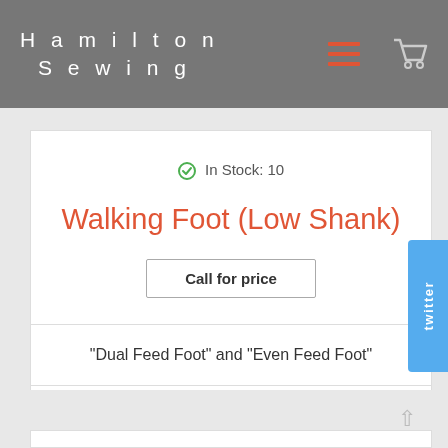Hamilton Sewing
In Stock: 10
Walking Foot (Low Shank)
Call for price
"Dual Feed Foot" and "Even Feed Foot"